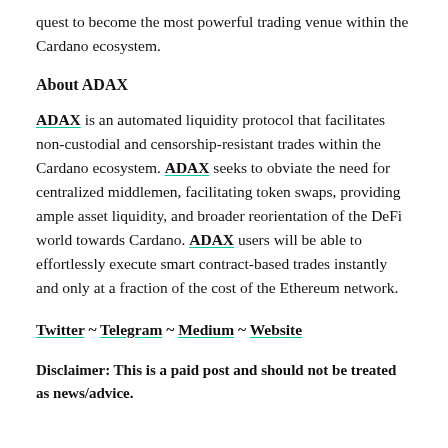quest to become the most powerful trading venue within the Cardano ecosystem.
About ADAX
ADAX is an automated liquidity protocol that facilitates non-custodial and censorship-resistant trades within the Cardano ecosystem. ADAX seeks to obviate the need for centralized middlemen, facilitating token swaps, providing ample asset liquidity, and broader reorientation of the DeFi world towards Cardano. ADAX users will be able to effortlessly execute smart contract-based trades instantly and only at a fraction of the cost of the Ethereum network.
Twitter ~ Telegram ~ Medium ~ Website
Disclaimer: This is a paid post and should not be treated as news/advice.